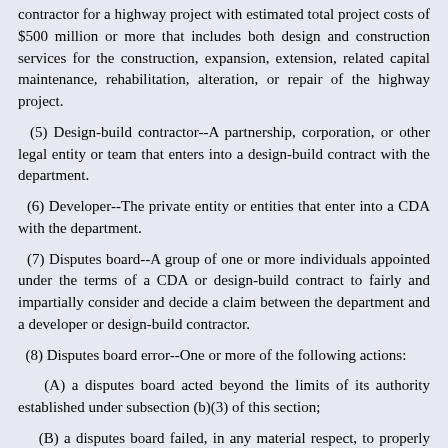contractor for a highway project with estimated total project costs of $500 million or more that includes both design and construction services for the construction, expansion, extension, related capital maintenance, rehabilitation, alteration, or repair of the highway project.
(5) Design-build contractor--A partnership, corporation, or other legal entity or team that enters into a design-build contract with the department.
(6) Developer--The private entity or entities that enter into a CDA with the department.
(7) Disputes board--A group of one or more individuals appointed under the terms of a CDA or design-build contract to fairly and impartially consider and decide a claim between the department and a developer or design-build contractor.
(8) Disputes board error--One or more of the following actions:
(A) a disputes board acted beyond the limits of its authority established under subsection (b)(3) of this section;
(B) a disputes board failed, in any material respect, to properly follow or apply the procedure for handling, hearing and deciding a claim established under the CDA or design-build contract and